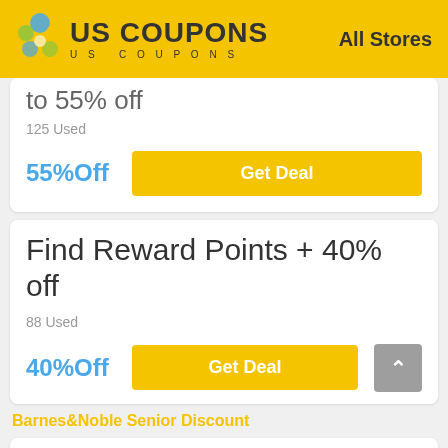US COUPONS  All Stores
to 55% off
125 Used
55%Off
Get Deal
Find Reward Points + 40% off
88 Used
40%Off
Get Deal
Barnes&Noble Senior Discount